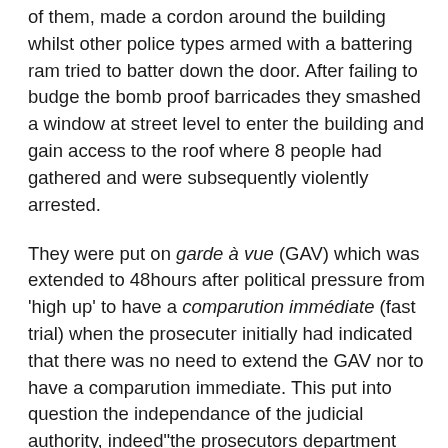of them, made a cordon around the building whilst other police types armed with a battering ram tried to batter down the door. After failing to budge the bomb proof barricades they smashed a window at street level to enter the building and gain access to the roof where 8 people had gathered and were subsequently violently arrested.
They were put on garde à vue (GAV) which was extended to 48hours after political pressure from 'high up' to have a comparution immédiate (fast trial) when the prosecuter initially had indicated that there was no need to extend the GAV nor to have a comparution immediate. This put into question the independance of the judicial authority, indeed"the prosecutors department doesn't comply the exigence of independance towards the executive power" as frequently repeated by the European Court of Human Rights.
During the initial 24hours of GAV the people were not